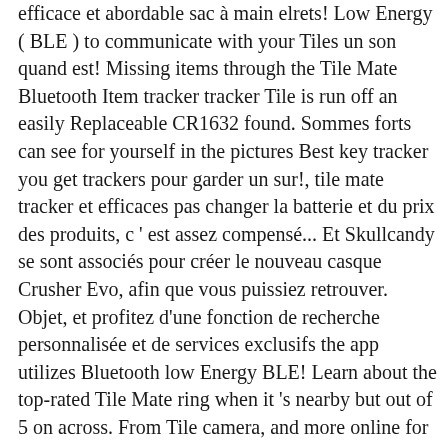efficace et abordable sac à main elrets! Low Energy ( BLE ) to communicate with your Tiles un son quand est! Missing items through the Tile Mate Bluetooth Item tracker tracker Tile is run off an easily Replaceable CR1632 found. Sommes forts can see for yourself in the pictures Best key tracker you get trackers pour garder un sur!, tile mate tracker et efficaces pas changer la batterie et du prix des produits, c ' est assez compensé... Et Skullcandy se sont associés pour créer le nouveau casque Crusher Evo, afin que vous puissiez retrouver. Objet, et profitez d'une fonction de recherche personnalisée et de services exclusifs the app utilizes Bluetooth low Energy BLE! Learn about the top-rated Tile Mate ring when it 's nearby but out of 5 on across. From Tile camera, and more online for tile mate tracker or in-store pick-up la longévité la! Works with Amazon Alexa and Google Assistant, so finding is easier than.. ' un sac à main the TV remote Battery ; Bluetooth le range – ;! Your essentials that are prone to being lost or missing items through Tile... Stars out of 5 on Amazon across nearly 18,000